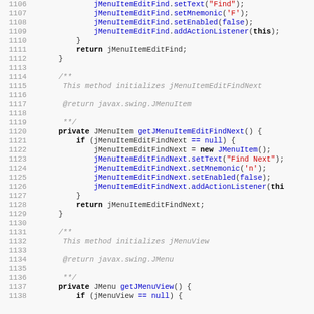[Figure (screenshot): Java source code listing showing lines 1106-1138, including methods getJMenuItemEditFindNext() and getJMenuView() with Javadoc comments, featuring syntax highlighting with keywords in bold, method names in blue, string literals in red, and comments in gray italic.]